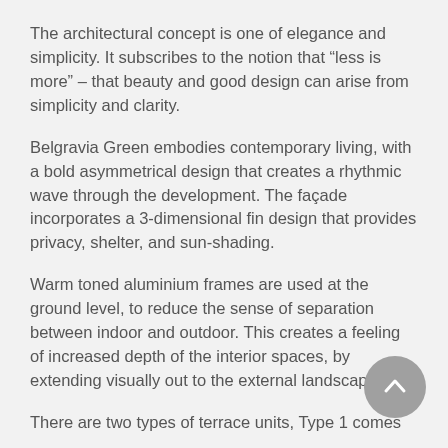The architectural concept is one of elegance and simplicity. It subscribes to the notion that “less is more” – that beauty and good design can arise from simplicity and clarity.
Belgravia Green embodies contemporary living, with a bold asymmetrical design that creates a rhythmic wave through the development. The façade incorporates a 3-dimensional fin design that provides privacy, shelter, and sun-shading.
Warm toned aluminium frames are used at the ground level, to reduce the sense of separation between indoor and outdoor. This creates a feeling of increased depth of the interior spaces, by extending visually out to the external landscape.
There are two types of terrace units, Type 1 comes